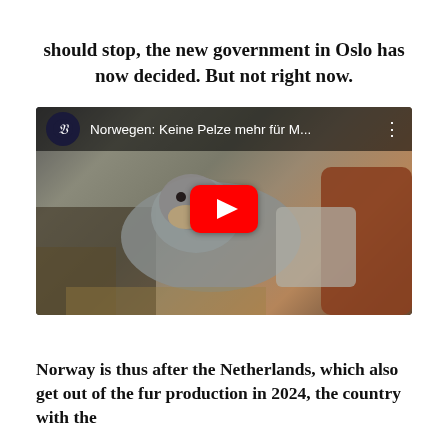should stop, the new government in Oslo has now decided. But not right now.
[Figure (screenshot): YouTube video thumbnail showing a mink or otter animal being held, with video title 'Norwegen: Keine Pelze mehr für M...' and a red play button overlay. Channel icon shows a stylized F logo.]
Norway is thus after the Netherlands, which also get out of the fur production in 2024, the country with the